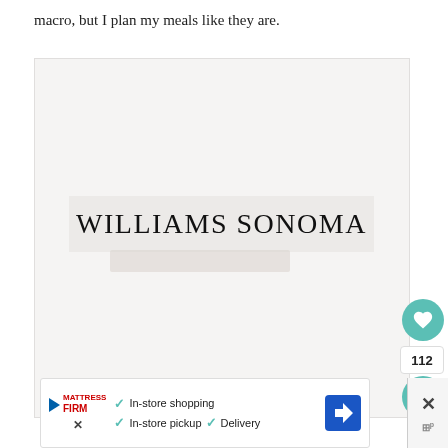macro, but I plan my meals like they are.
[Figure (photo): Williams Sonoma branded image showing the 'WILLIAMS SONOMA' text logo on a light gray/beige background, with a partial product image below the text.]
[Figure (screenshot): UI overlay showing a teal heart/like button, a count badge showing 112, and a teal share button on the right side of the image.]
[Figure (screenshot): Advertisement bar at the bottom showing Mattress Firm logo with play button, checkmarks for 'In-store shopping', 'In-store pickup', 'Delivery', and a blue navigation arrow icon. Partially cropped elements on the right.]